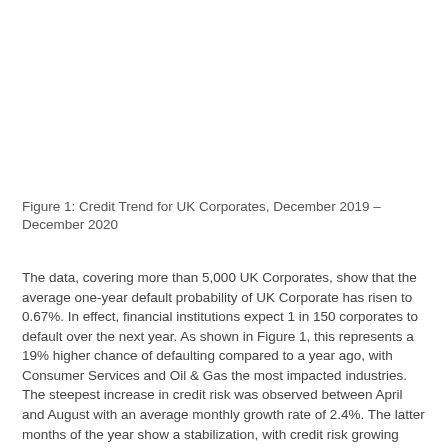Figure 1: Credit Trend for UK Corporates, December 2019 – December 2020
The data, covering more than 5,000 UK Corporates, show that the average one-year default probability of UK Corporate has risen to 0.67%. In effect, financial institutions expect 1 in 150 corporates to default over the next year. As shown in Figure 1, this represents a 19% higher chance of defaulting compared to a year ago, with Consumer Services and Oil & Gas the most impacted industries. The steepest increase in credit risk was observed between April and August with an average monthly growth rate of 2.4%. The latter months of the year show a stabilization, with credit risk growing only by 0.2% in November. But the third COVID wave brought another